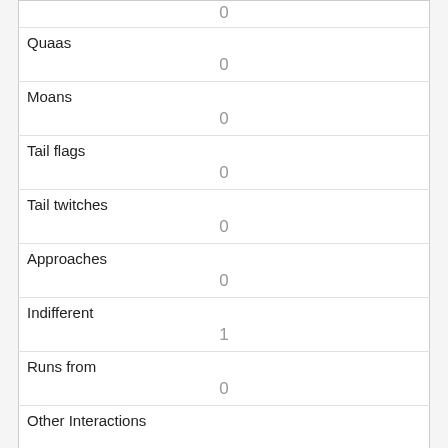|  | 0 |
| Quaas | 0 |
| Moans | 0 |
| Tail flags | 0 |
| Tail twitches | 0 |
| Approaches | 0 |
| Indifferent | 1 |
| Runs from | 0 |
| Other Interactions |  |
| Lat/Long | POINT (-73.9761440627966 40.7706035301542) |
| Link |  |